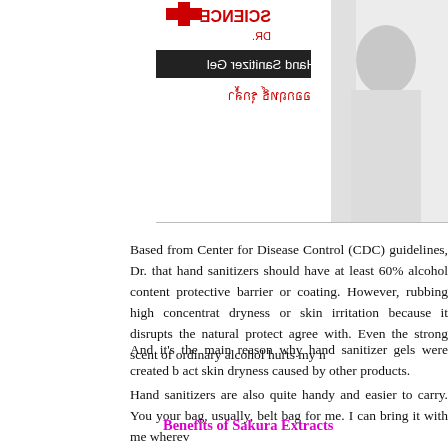[Figure (photo): A mirrored/reversed image of a Dr. Science hand sanitizer gel product label, with red cross logo and text shown in mirror reflection. A person in a white lab coat is visible on the right side of the image.]
Based from Center for Disease Control (CDC) guidelines, Dr. that hand sanitizers should have at least 60% alcohol content protective barrier or coating. However, rubbing high concentrat dryness or skin irritation because it disrupts the natural protect agree with. Even the strong scent of ordinary alcohol hurts my n
And it's the main reason why hand sanitizer gels were created b act skin dryness caused by other products.
Hand sanitizers are also quite handy and easier to carry. You your bag, usually, belt bag for me. I can bring it with me wherev
Benefits of Sakura Extracts